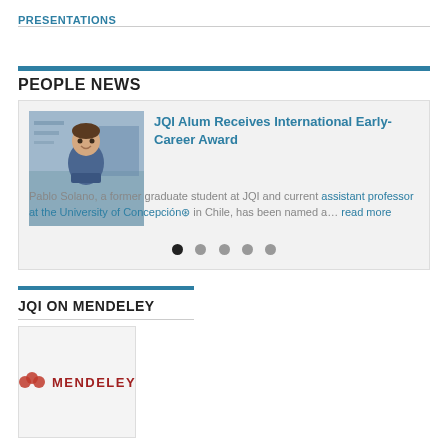PRESENTATIONS
PEOPLE NEWS
[Figure (photo): News card with photo of Pablo Solano (young man in blue shirt in a laboratory setting), article title 'JQI Alum Receives International Early-Career Award', article text, and carousel dots]
JQI Alum Receives International Early-Career Award
Pablo Solano, a former graduate student at JQI and current assistant professor at the University of Concepción in Chile, has been named a... read more
JQI ON MENDELEY
[Figure (logo): Mendeley logo — red M symbol with MENDELEY text in red on light grey background]